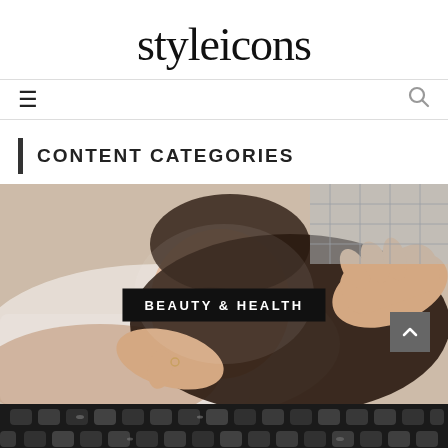styleicons
[Figure (screenshot): Navigation bar with hamburger menu icon on left and search icon on right]
CONTENT CATEGORIES
[Figure (photo): Woman receiving a facial massage at a spa, eyes closed, hands on face. Overlay label reads BEAUTY & HEALTH]
[Figure (photo): Partial view of a second category image at the bottom, dark background with reflective pattern]